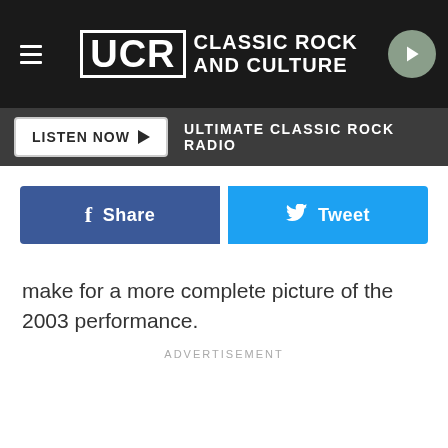UCR Classic Rock and Culture
LISTEN NOW ▶ ULTIMATE CLASSIC ROCK RADIO
[Figure (other): Facebook Share button and Twitter Tweet button]
make for a more complete picture of the 2003 performance.
ADVERTISEMENT